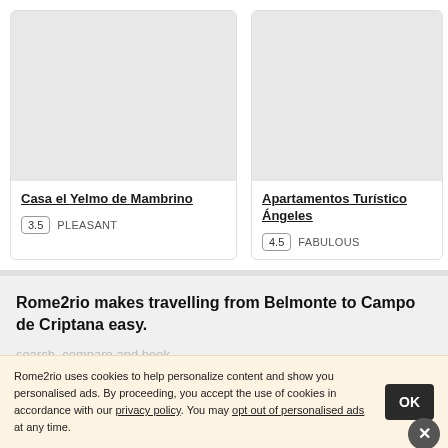[Figure (photo): Gray placeholder image for hotel card - Casa el Yelmo de Mambrino]
Casa el Yelmo de Mambrino
3.5 PLEASANT
[Figure (photo): Gray placeholder image for hotel card - Apartamentos Turísticos Ángeles]
Apartamentos Turísticos Ángeles
4.5 FABULOUS
Rome2rio makes travelling from Belmonte to Campo de Criptana easy.
Rome2rio uses cookies to help personalize content and show you personalised ads. By proceeding, you accept the use of cookies in accordance with our privacy policy. You may opt out of personalised ads at any time.